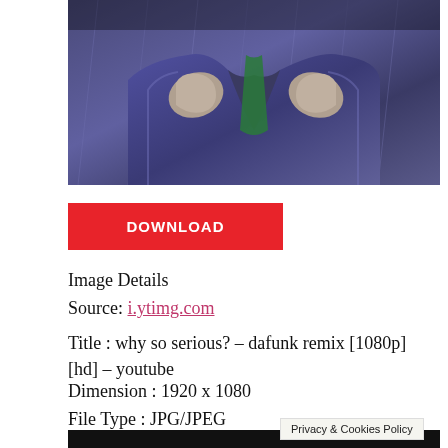[Figure (illustration): Comic-book style illustration of a figure in a dark purple/blue suit with green tie, holding lapels, set against a rainy dark background. Hands and torso visible, no face shown.]
DOWNLOAD
Image Details
Source: i.ytimg.com
Title : why so serious? – dafunk remix [1080p] [hd] – youtube
Dimension : 1920 x 1080
File Type : JPG/JPEG
Privacy & Cookies Policy